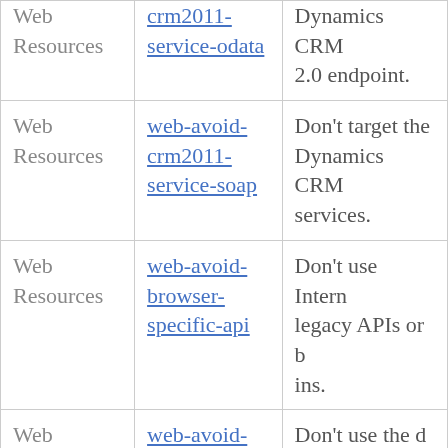| Category | Rule ID | Description |
| --- | --- | --- |
| Web Resources | crm2011-service-odata | Dynamics CRM 2.0 endpoint. |
| Web Resources | web-avoid-crm2011-service-soap | Don't target the Dynamics CRM services. |
| Web Resources | web-avoid-browser-specific-api | Don't use Internet legacy APIs or b ins. |
| Web Resources | web-avoid-2011-api | Don't use the d Microsoft Dyna 2011 object mo |
| Web Resources | web-use-relative-uri | Don't use absol Data Service en |
| Web Resources | web-use-client- | Use client conte |